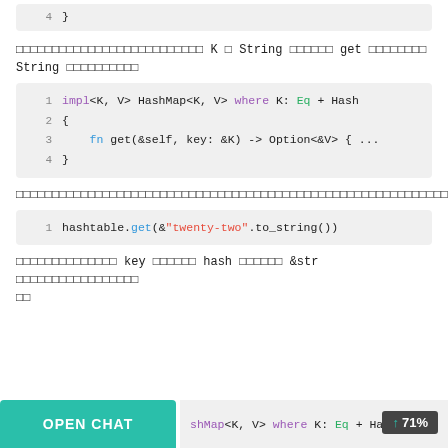[Figure (screenshot): Code block showing line 4 with closing brace at top of page]
K String get String
[Figure (screenshot): Code block: impl<K, V> HashMap<K, V> where K: Eq + Hash { fn get(&self, key: &K) -> Option<&V> { ... } }]
hashtable.get(&"twenty-two".to_string()) description text
[Figure (screenshot): Code block: hashtable.get(&"twenty-two".to_string())]
key hash &str
[Figure (screenshot): Bottom partial code: shMap<K, V> where K: Eq + Hash]